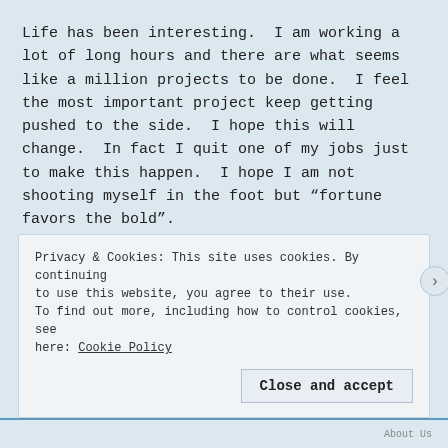Life has been interesting. I am working a lot of long hours and there are what seems like a million projects to be done. I feel the most important project keep getting pushed to the side. I hope this will change. In fact I quit one of my jobs just to make this happen. I hope I am not shooting myself in the foot but “fortune favors the bold”.
Project 49, my first novel has been rewritten. I moved stuff around and added content and will be released as an edition two. I am not sure when. I would like to finish the second book in the series,
Privacy & Cookies: This site uses cookies. By continuing to use this website, you agree to their use.
To find out more, including how to control cookies, see here: Cookie Policy
Close and accept